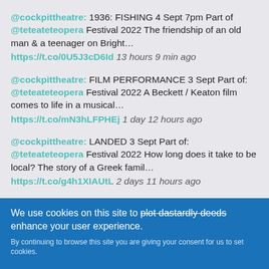@cockpittheatre: 1936: FISHING 4 Sept 7pm Part of @teteateteopera Festival 2022 The friendship of an old man & a teenager on Bright… https://t.co/0U5J3cD6Id 13 hours 9 min ago
@cockpittheatre: FILM PERFORMANCE 3 Sept Part of: @teteateteopera Festival 2022 A Beckett / Keaton film comes to life in a musical… https://t.co/mN3hLFPHEj 1 day 12 hours ago
@cockpittheatre: LANDED 3 Sept Part of: @teteateteopera Festival 2022 How long does it take to be local? The story of a Greek famil… https://t.co/g4h1XIAUtL 2 days 11 hours ago
We use cookies on this site to plot dastardly deeds enhance your user experience. By continuing to browse this site you are giving your consent for us to set cookies.